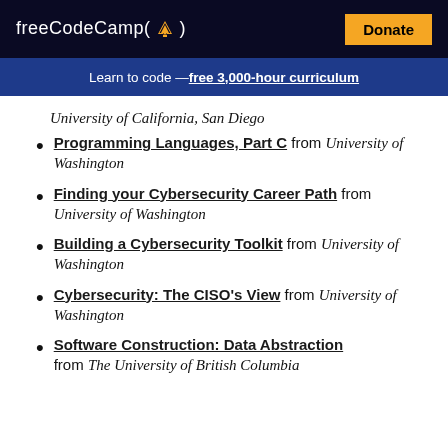freeCodeCamp(🔥)   Donate
Learn to code — free 3,000-hour curriculum
University of California, San Diego
Programming Languages, Part C from University of Washington
Finding your Cybersecurity Career Path from University of Washington
Building a Cybersecurity Toolkit from University of Washington
Cybersecurity: The CISO's View from University of Washington
Software Construction: Data Abstraction from The University of British Columbia